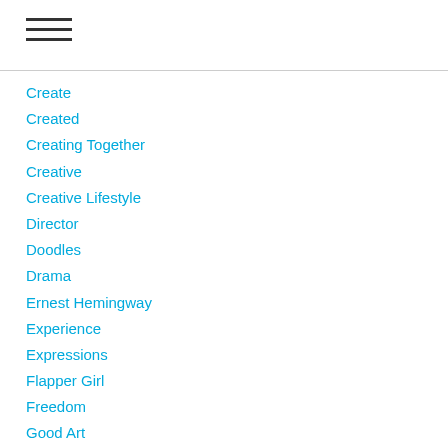☰
Create
Created
Creating Together
Creative
Creative Lifestyle
Director
Doodles
Drama
Ernest Hemingway
Experience
Expressions
Flapper Girl
Freedom
Good Art
Good Things
Human
Ideas